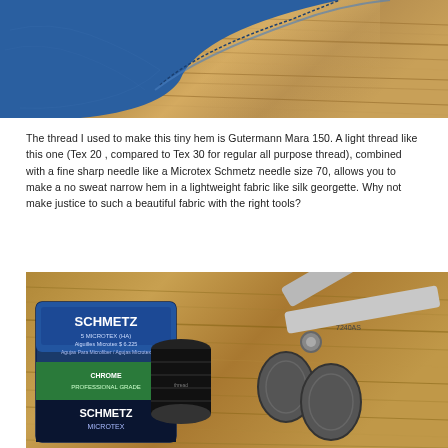[Figure (photo): Close-up photo of blue fabric hemmed edge resting on wooden surface, showing stitching detail]
The thread I used to make this tiny hem is Gutermann Mara 150. A light thread like this one (Tex 20 , compared to Tex 30 for regular all purpose thread), combined with a fine sharp needle like a Microtex Schmetz needle size 70, allows you to make a no sweat narrow hem in a lightweight fabric like silk georgette. Why not make justice to such a beautiful fabric with the right tools?
[Figure (photo): Photo of sewing supplies on wooden surface: Schmetz Microtex needles package, a spool of dark thread, and chrome professional grade scissors (model 7240AS)]